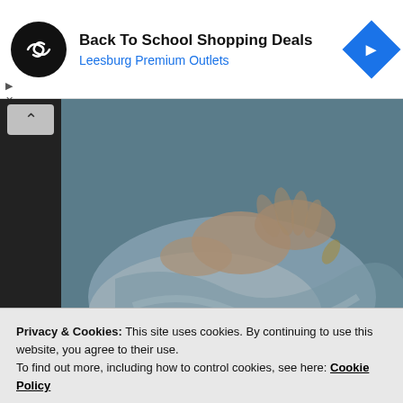[Figure (screenshot): Advertisement banner for Back To School Shopping Deals at Leesburg Premium Outlets with circular black logo and blue diamond navigation icon]
[Figure (photo): Video frame showing hands and fabric in blue-grey tones, appears to be a medical or artistic scene]
Sandra though this somehow worse, barely able to
Privacy & Cookies: This site uses cookies. By continuing to use this website, you agree to their use.
To find out more, including how to control cookies, see here: Cookie Policy
Close and accept